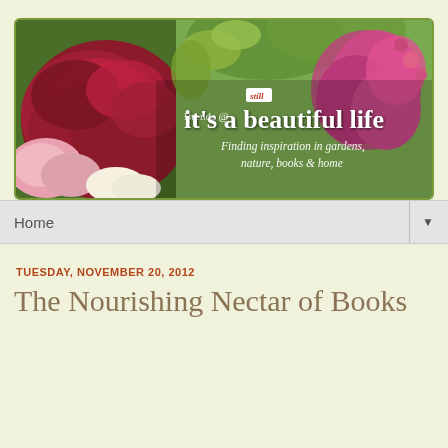[Figure (illustration): Blog header banner for 'it's still a beautiful life' by Brenda. Features a floral photograph with large crimson/magenta roses, pink roses, and greenery. Overlay text reads: 'Brenda @ it's [still] a beautiful life — Finding inspiration in gardens, nature, books & home']
Home ▼
TUESDAY, NOVEMBER 20, 2012
The Nourishing Nectar of Books